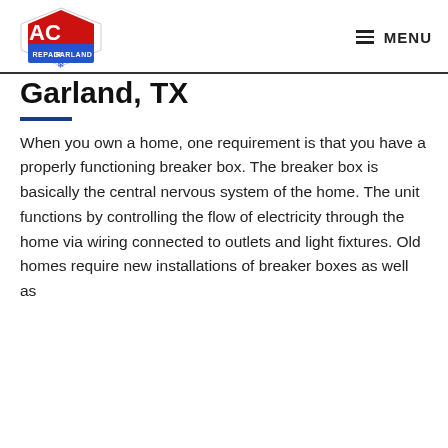AC REPAIR GARLAND [logo] MENU
Garland, TX
When you own a home, one requirement is that you have a properly functioning breaker box. The breaker box is basically the central nervous system of the home. The unit functions by controlling the flow of electricity through the home via wiring connected to outlets and light fixtures. Old homes require new installations of breaker boxes as well as